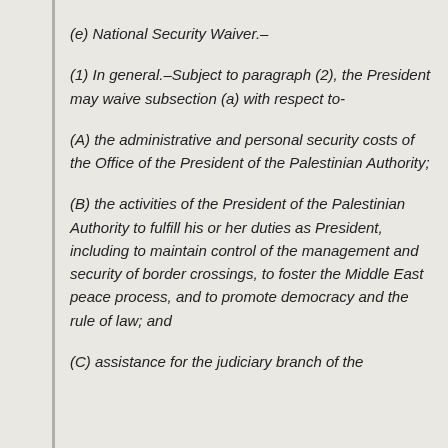(e) National Security Waiver.–
(1) In general.–Subject to paragraph (2), the President may waive subsection (a) with respect to-
(A) the administrative and personal security costs of the Office of the President of the Palestinian Authority;
(B) the activities of the President of the Palestinian Authority to fulfill his or her duties as President, including to maintain control of the management and security of border crossings, to foster the Middle East peace process, and to promote democracy and the rule of law; and
(C) assistance for the judiciary branch of the